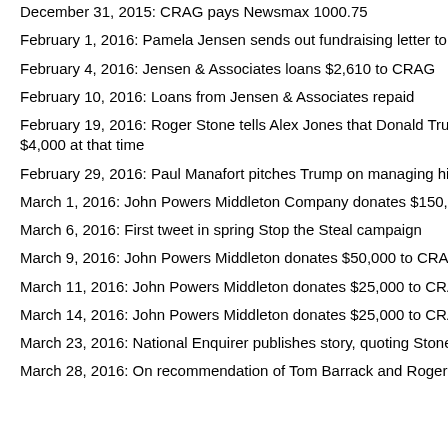December 31, 2015: CRAG pays Newsmax 1000.75
February 1, 2016: Pamela Jensen sends out fundraising letter to World Net D
February 4, 2016: Jensen & Associates loans $2,610 to CRAG
February 10, 2016: Loans from Jensen & Associates repaid
February 19, 2016: Roger Stone tells Alex Jones that Donald Trump has don... $4,000 at that time
February 29, 2016: Paul Manafort pitches Trump on managing his convention
March 1, 2016: John Powers Middleton Company donates $150,000 to CRA
March 6, 2016: First tweet in spring Stop the Steal campaign
March 9, 2016: John Powers Middleton donates $50,000 to CRAG
March 11, 2016: John Powers Middleton donates $25,000 to CRAG
March 14, 2016: John Powers Middleton donates $25,000 to CRAG
March 23, 2016: National Enquirer publishes story, quoting Stone, claiming m
March 28, 2016: On recommendation of Tom Barrack and Roger Stone, Trum